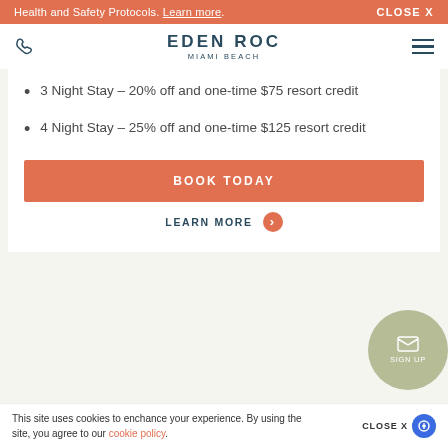Health and Safety Protocols. Learn more. CLOSE X
[Figure (logo): Eden Roc Miami Beach logo with phone icon and hamburger menu]
3 Night Stay – 20% off and one-time $75 resort credit
4 Night Stay – 25% off and one-time $125 resort credit
BOOK TODAY
LEARN MORE →
SIGN UP
This site uses cookies to enchance your experience. By using the site, you agree to our cookie policy. CLOSE X